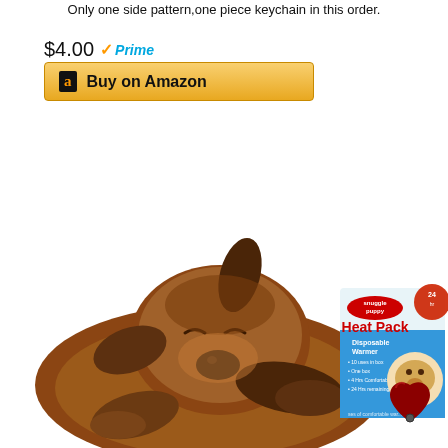Only one side pattern,one piece keychain in this order.
$4.00 ✓Prime
[Figure (screenshot): Yellow 'Buy on Amazon' button with Amazon logo 'a' icon]
[Figure (photo): Snuggle Puppy stuffed dog toy (brown plush) lying down with a Snuggle Puppy Heat Pack box and a red heart device beside it]